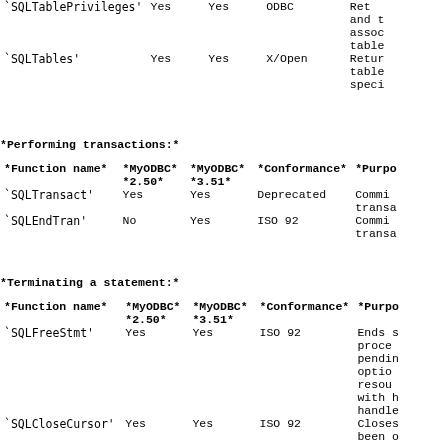| Function name | MyODBC *2.50* | MyODBC *3.51* | Conformance | Purpose |
| --- | --- | --- | --- | --- |
| `SQLTablePrivileges' | Yes | Yes | ODBC | Ret
and t
assoc
table |
| `SQLTables' | Yes | Yes | X/Open | Retur
table
speci |
*Performing transactions:*
| Function name | MyODBC *2.50* | MyODBC *3.51* | Conformance | Purpose |
| --- | --- | --- | --- | --- |
| `SQLTransact' | Yes | Yes | Deprecated | Commi
trans |
| `SQLEndTran' | No | Yes | ISO 92 | Commi
trans |
*Terminating a statement:*
| Function name | MyODBC *2.50* | MyODBC *3.51* | Conformance | Purpose |
| --- | --- | --- | --- | --- |
| `SQLFreeStmt' | Yes | Yes | ISO 92 | Ends s
proces
pendin
option
resour
with h
handle |
| `SQLCloseCursor' | Yes | Yes | ISO 92 | Closes
been o |